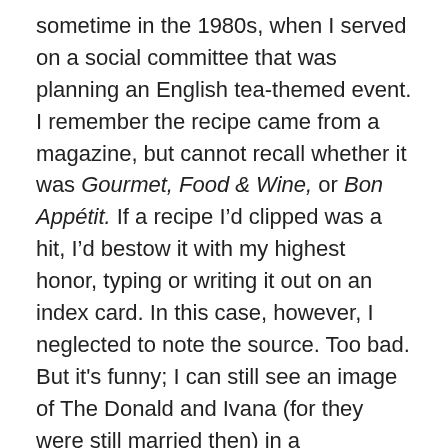sometime in the 1980s, when I served on a social committee that was planning an English tea-themed event. I remember the recipe came from a magazine, but cannot recall whether it was Gourmet, Food & Wine, or Bon Appétit. If a recipe I'd clipped was a hit, I'd bestow it with my highest honor, typing or writing it out on an index card. In this case, however, I neglected to note the source. Too bad. But it's funny; I can still see an image of The Donald and Ivana (for they were still married then) in a photograph accompanying the recipe.* (I tend to have a selectively eidetic memory.) The Trumps owned the Plaza Hotel at the time, and this cake was on the menu there. Not that I ever had a chance to enjoy it in those hallowed halls myself. But if the Midlife Second Wife couldn't go to the Plaza, then the Plaza surely can go to the Midlife Second Wife. And it does, each time I bake this sumptuous cake.